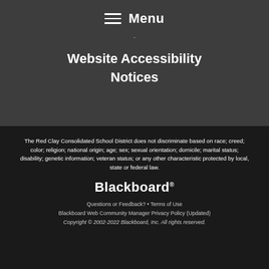Menu
Website Accessibility Notices
The Red Clay Consolidated School District does not discriminate based on race; creed; color; religion; national origin; age; sex; sexual orientation; domicile; marital status; disability; genetic information; veteran status; or any other characteristic protected by local, state or federal law.
[Figure (logo): Blackboard logo in white text]
Questions or Feedback? • Terms of Use
Blackboard Web Community Manager Privacy Policy (Updated)
Copyright © 2002-2022 Blackboard, Inc. All rights reserved.